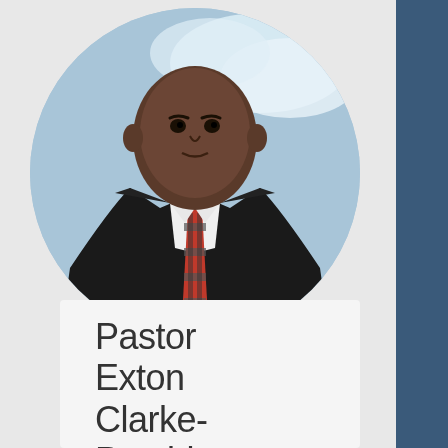[Figure (photo): Circular portrait photo of a man in a black suit and plaid tie (red, gray, black pattern) with a light blue and cloudy background]
Pastor Exton Clarke-President